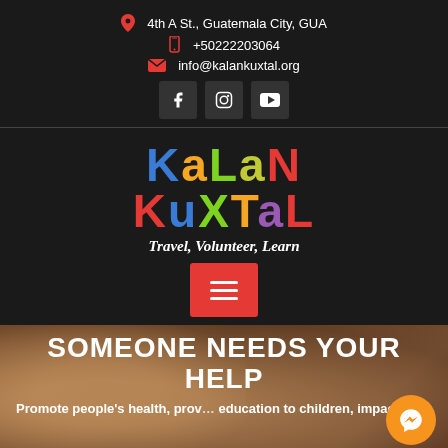📍 4th A St., Guatemala City, GUA
📱 +50222203064
✉ info@kalankuxtal.org
[Figure (logo): Social media icons: Facebook, Instagram, YouTube]
[Figure (logo): Kalan Kuxtal colorful logo with tagline Travel, Volunteer, Learn and red hamburger menu button]
SOMEONE NEEDS YOUR HELP
Promote people's health, provide education to children, impact i...